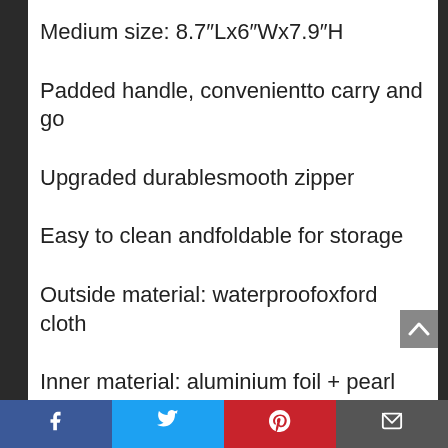Medium size: 8.7"Lx6"Wx7.9"H
Padded handle, convenientto carry and go
Upgraded durablesmooth zipper
Easy to clean andfoldable for storage
Outside material: waterproofoxford cloth
Inner material: aluminium foil + pearl cotton
Extra side pocket